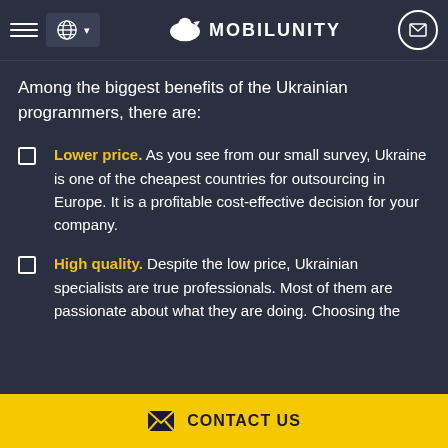MOBILUNITY
Among the biggest benefits of the Ukrainian programmers, there are:
Lower price. As you see from our small survey, Ukraine is one of the cheapest countries for outsourcing in Europe. It is a profitable cost-effective decision for your company.
High quality. Despite the low price, Ukrainian specialists are true professionals. Most of them are passionate about what they are doing. Choosing the
CONTACT US